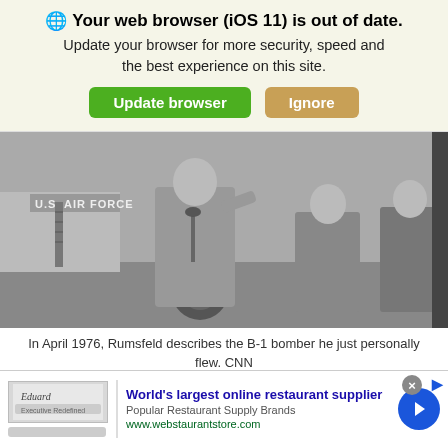🌐 Your web browser (iOS 11) is out of date. Update your browser for more security, speed and the best experience on this site. [Update browser] [Ignore]
[Figure (photo): Black and white photograph of a man speaking at a microphone outdoors at a U.S. Air Force base, with two other men in suits/military uniform standing behind him. An aircraft and its landing gear are visible in the background.]
In April 1976, Rumsfeld describes the B-1 bomber he just personally flew. CNN
Donald Rumsfeld
[Figure (advertisement): Advertisement for webstaurantstore.com: World's largest online restaurant supplier. Popular Restaurant Supply Brands. www.webstaurantstore.com]